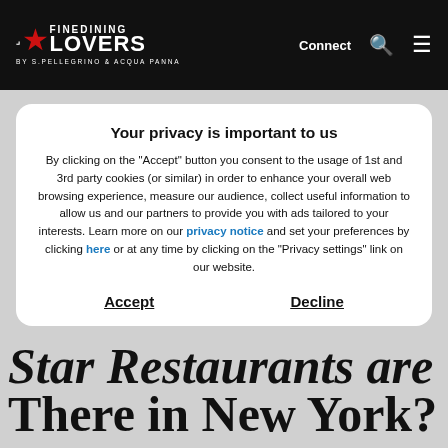FINE DINING LOVERS — BY S.PELLEGRINO & ACQUA PANNA — Connect
Your privacy is important to us
By clicking on the "Accept" button you consent to the usage of 1st and 3rd party cookies (or similar) in order to enhance your overall web browsing experience, measure our audience, collect useful information to allow us and our partners to provide you with ads tailored to your interests. Learn more on our privacy notice and set your preferences by clicking here or at any time by clicking on the "Privacy settings" link on our website.
Accept   Decline
Star Restaurants are There in New York?